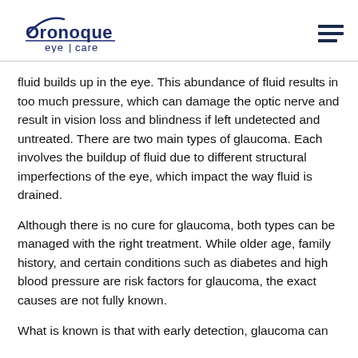Oronoque eye care
fluid builds up in the eye. This abundance of fluid results in too much pressure, which can damage the optic nerve and result in vision loss and blindness if left undetected and untreated. There are two main types of glaucoma. Each involves the buildup of fluid due to different structural imperfections of the eye, which impact the way fluid is drained.
Although there is no cure for glaucoma, both types can be managed with the right treatment. While older age, family history, and certain conditions such as diabetes and high blood pressure are risk factors for glaucoma, the exact causes are not fully known.
What is known is that with early detection, glaucoma can